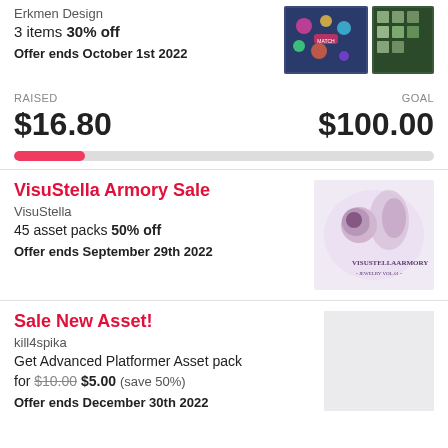Erkmen Design
3 items 30% off
Offer ends October 1st 2022
RAISED $16.80   GOAL $100.00
VisuStella Armory Sale
VisuStella
45 asset packs 50% off
Offer ends September 29th 2022
Sale New Asset!
kill4spika
Get Advanced Platformer Asset pack for $10.00 $5.00 (save 50%)
Offer ends December 30th 2022